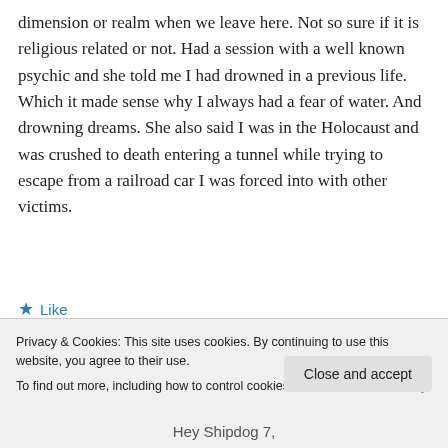dimension or realm when we leave here. Not so sure if it is religious related or not. Had a session with a well known psychic and she told me I had drowned in a previous life. Which it made sense why I always had a fear of water. And drowning dreams. She also said I was in the Holocaust and was crushed to death entering a tunnel while trying to escape from a railroad car I was forced into with other victims.
★ Like
Privacy & Cookies: This site uses cookies. By continuing to use this website, you agree to their use.
To find out more, including how to control cookies, see here: Cookie Policy
Close and accept
Hey Shipdog 7,